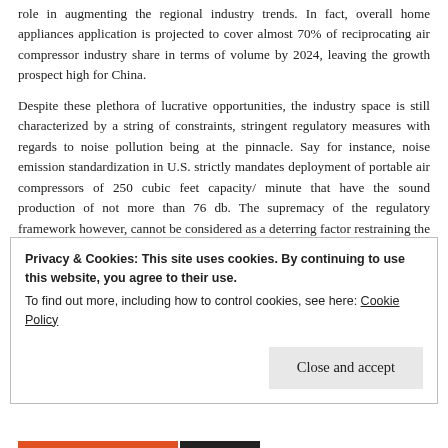role in augmenting the regional industry trends. In fact, overall home appliances application is projected to cover almost 70% of reciprocating air compressor industry share in terms of volume by 2024, leaving the growth prospect high for China.
Despite these plethora of lucrative opportunities, the industry space is still characterized by a string of constraints, stringent regulatory measures with regards to noise pollution being at the pinnacle. Say for instance, noise emission standardization in U.S. strictly mandates deployment of portable air compressors of 250 cubic feet capacity/ minute that have the sound production of not more than 76 db. The supremacy of the regulatory framework however, cannot be considered as a deterring factor restraining the growth of reciprocating air compressor market as it solely grounds on
Privacy & Cookies: This site uses cookies. By continuing to use this website, you agree to their use.
To find out more, including how to control cookies, see here: Cookie Policy
Close and accept